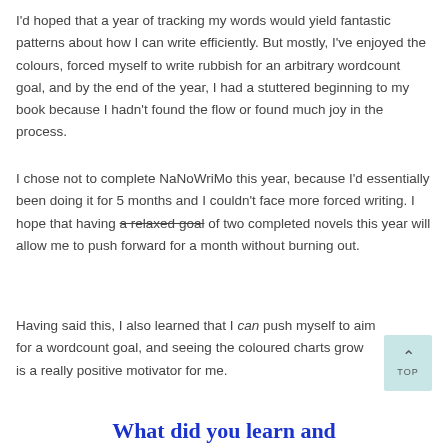I'd hoped that a year of tracking my words would yield fantastic patterns about how I can write efficiently. But mostly, I've enjoyed the colours, forced myself to write rubbish for an arbitrary wordcount goal, and by the end of the year, I had a stuttered beginning to my book because I hadn't found the flow or found much joy in the process.
I chose not to complete NaNoWriMo this year, because I'd essentially been doing it for 5 months and I couldn't face more forced writing. I hope that having a relaxed goal of two completed novels this year will allow me to push forward for a month without burning out.
Having said this, I also learned that I can push myself to aim for a wordcount goal, and seeing the coloured charts grow is a really positive motivator for me.
What did you learn and